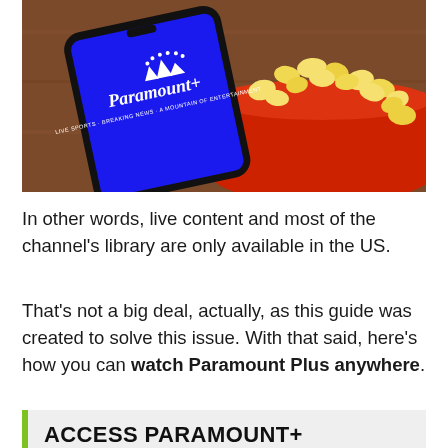[Figure (photo): A smartphone displaying the Paramount+ app interface on a blue screen with the Paramount+ logo and tagline 'Live Sports · Breaking News · A Mountain of Entertainment', placed diagonally on a wooden surface next to a red bowl overflowing with popcorn.]
In other words, live content and most of the channel's library are only available in the US.
That's not a big deal, actually, as this guide was created to solve this issue. With that said, here's how you can watch Paramount Plus anywhere.
ACCESS PARAMOUNT+